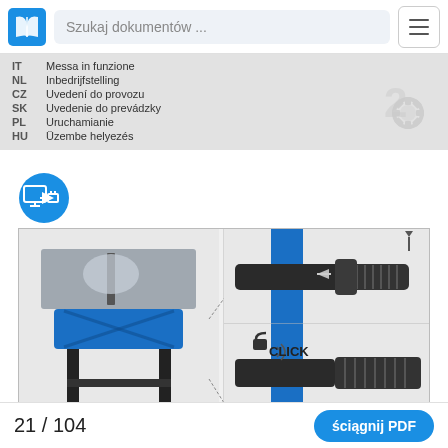Szukaj dokumentów ...
| IT | Messa in funzione |
| NL | Inbedrijfstelling |
| CZ | Uvedení do provozu |
| SK | Uvedenie do prevádzky |
| PL | Uruchamianie |
| HU | Üzembe helyezés |
[Figure (illustration): Blue circular mandatory instruction icon showing a plug/cord being connected to a power socket with an arrow pointing right.]
[Figure (engineering-diagram): Technical diagram of a table saw (blue, on stand) with a dust extraction hose connection detail. Right side shows close-up of hose connector with an arrow indicating insertion direction and a downward arrow, plus a lower panel showing a CLICK lock mechanism with a padlock icon and sound waves indicating the click.]
21 / 104
ściągnij PDF